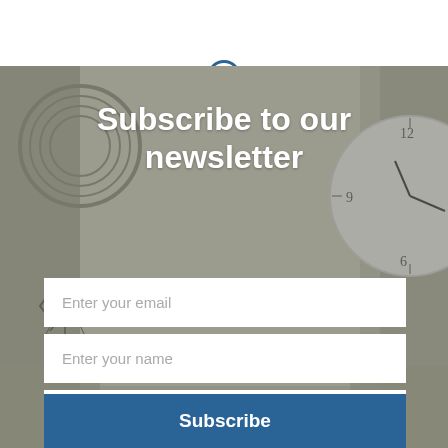[Figure (photo): Background photo of a room interior with decorative wall items including woven circles, a bow decoration, and a large wall clock. Image has a grayish overlay.]
Subscribe to our newsletter
Enter your email
Enter your name
Enter your last name
Subscribe